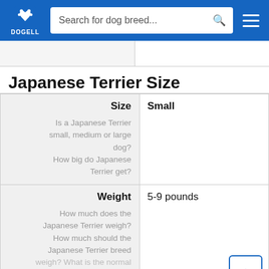DOGELL — Search for dog breed...
Japanese Terrier Size
|  |  |
| --- | --- |
| Size | Small | Is a Japanese Terrier small, medium or large dog? How big do Japanese Terrier get? |  |
| Weight | 5-9 pounds | How much does the Japanese Terrier weigh? How much should the Japanese Terrier breed weigh? What is the normal... |  |